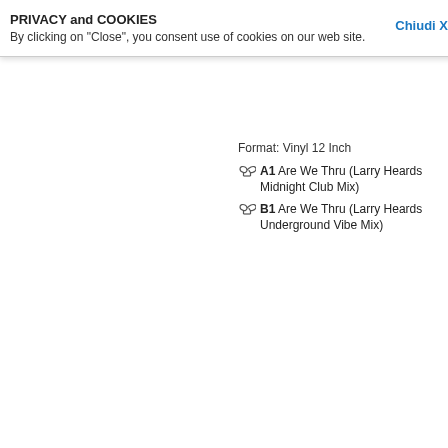PRIVACY and COOKIES
By clicking on "Close", you consent use of cookies on our web site.
[Figure (other): Album art placeholder image (grey rectangle)]
Format: Vinyl 12 Inch
A1 Are We Thru (Larry Heards Midnight Club Mix)
B1 Are We Thru (Larry Heards Underground Vibe Mix)
NEON HEIGHTS
Are We Thru?, Feat. Zoe Johnston (Larry Heard Rmxs)
Glasgow Underground
Format: Vinyl 12 Inch
A1 Are We Thru (Larry Heards Midnight Club Mix)
B1 Are We Thru (Larry Heards Underground Vibe Mix)